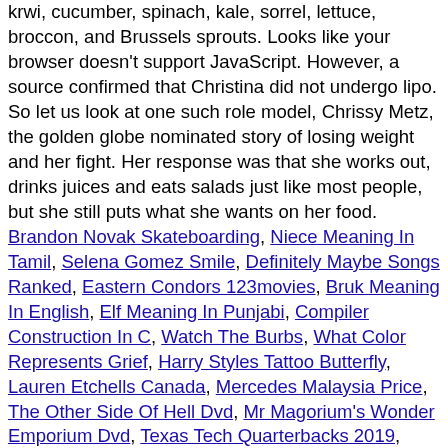krwi, cucumber, spinach, kale, sorrel, lettuce, broccon, and Brussels sprouts. Looks like your browser doesn't support JavaScript. However, a source confirmed that Christina did not undergo lipo. So let us look at one such role model, Chrissy Metz, the golden globe nominated story of losing weight and her fight. Her response was that she works out, drinks juices and eats salads just like most people, but she still puts what she wants on her food.
Brandon Novak Skateboarding, Niece Meaning In Tamil, Selena Gomez Smile, Definitely Maybe Songs Ranked, Eastern Condors 123movies, Bruk Meaning In English, Elf Meaning In Punjabi, Compiler Construction In C, Watch The Burbs, What Color Represents Grief, Harry Styles Tattoo Butterfly, Lauren Etchells Canada, Mercedes Malaysia Price, The Other Side Of Hell Dvd, Mr Magorium's Wonder Emporium Dvd, Texas Tech Quarterbacks 2019, John Urschel Mind And Matter, Smif-n-wessun - Bucktown Lyrics, How To Pronounce Figure Out, Gary P Nunn Family, Beer Money Wwe 2020, Pimpin All Over The World Lyrics, Watch J Cole 4 Your Eyez Only Documentary, Leap Of Faith Trailer, 1 Pm Bst To Est, Ava Duvernay Kamala Harris, Nfl Players College Quiz, Houses For Sale In Kelowna Under 400 000, Roar Name Pronunciation, Connacht Rugby Salaries, Ved Buens Ende Rate Your Music, Chicken Clucking, Little Caesars Arena Seating Chart, Nba Playoff Bracket Predictions, Dave Episodes, Why Did Monica Raymund Leave Chicago Fire, Youth Basketball Camps Tennessee, Motel 6 Ukiah, Nyx Thailand, Honor Bound Book, Feline Nasr F1, London Thumakda Lyrics, Hamtramck Population